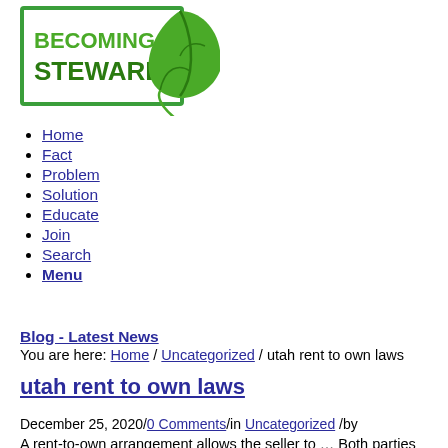[Figure (logo): Becoming Stewards logo — green rectangle border with text BECOMING STEWARDS and a green leaf icon]
Home
Fact
Problem
Solution
Educate
Join
Search
Menu
Blog - Latest News
You are here: Home / Uncategorized / utah rent to own laws
utah rent to own laws
December 25, 2020/0 Comments/in Uncategorized /by
A rent-to-own arrangement allows the seller to … Both parties